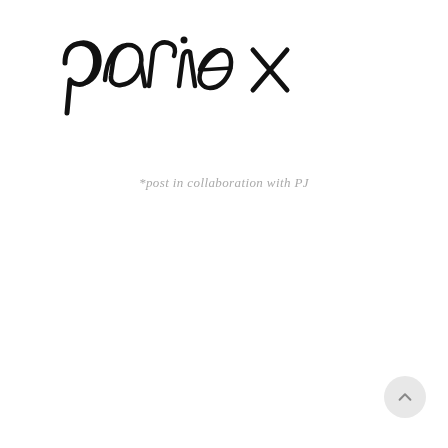[Figure (logo): Handwritten script logo reading 'pariex' in large black cursive lettering]
*post in collaboration with PJ